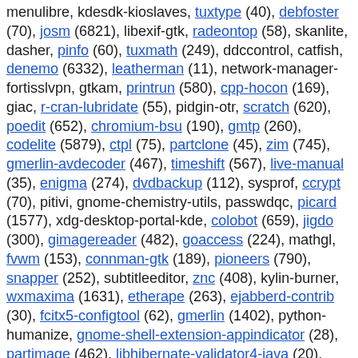menulibre, kdesdk-kioslaves, tuxtype (40), debfoster (70), josm (6821), libexif-gtk, radeontop (58), skanlite, dasher, pinfo (60), tuxmath (249), ddccontrol, catfish, denemo (6332), leatherman (11), network-manager-fortisslvpn, gtkam, printrun (580), cpp-hocon (169), giac, r-cran-lubridate (55), pidgin-otr, scratch (620), poedit (652), chromium-bsu (190), gmtp (260), codelite (5879), ctpl (75), partclone (45), zim (745), gmerlin-avdecoder (467), timeshift (567), live-manual (35), enigma (274), dvdbackup (112), sysprof, ccrypt (70), pitivi, gnome-chemistry-utils, passwdqc, picard (1577), xdg-desktop-portal-kde, colobot (659), jigdo (300), gimagereader (482), goaccess (224), mathgl, fvwm (153), connman-gtk (189), pioneers (790), snapper (252), subtitleeditor, znc (408), kylin-burner, wxmaxima (1631), etherape (263), ejabberd-contrib (30), fcitx5-configtool (62), gmerlin (1402), python-humanize, gnome-shell-extension-appindicator (28), partimage (462), libhibernate-validator4-java (20), gajim (1727), devede (54), live-boot (72), kbibtex, caja-admin (8), mediastreamer2,